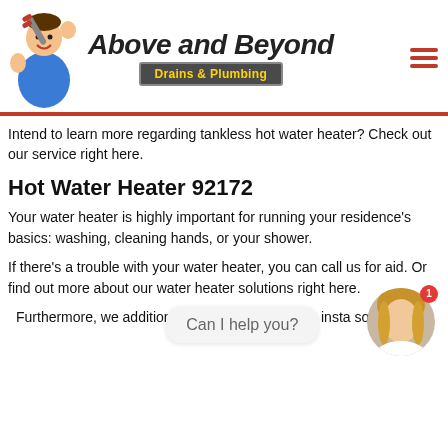[Figure (logo): Above and Beyond Drains & Plumbing logo with cartoon plumber holding a wrench, brand name in stylized italic font, subtitle on dark badge in yellow text]
Intend to learn more regarding tankless hot water heater? Check out our service right here.
Hot Water Heater 92172
Your water heater is highly important for running your residence's basics: washing, cleaning hands, or your shower.
If there's a trouble with your water heater, you can call us for aid. Or find out more about our water heater solutions right here.
Furthermore, we additionally insta solutions.
[Figure (photo): Chat support avatar of a young woman with blonde hair, with a red notification badge showing '1' and a chat bubble saying 'Can I help you?']